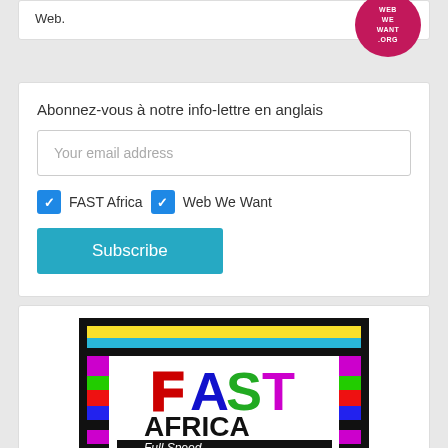Web.
[Figure (logo): Pink/magenta circular logo with text WEBWEWANT.ORG]
Abonnez-vous à notre info-lettre en anglais
Your email address
FAST Africa  Web We Want
Subscribe
[Figure (illustration): FAST AFRICA Full Speed Internet for All - Action week: May 1-7, 2016 colorful banner with African patterns]